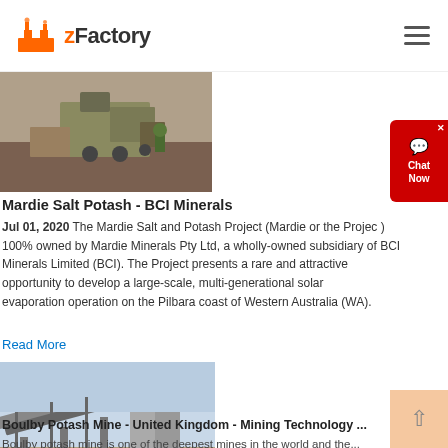zFactory
[Figure (photo): Mining equipment / machinery on an open dig site with gravel and industrial machines]
Mardie Salt Potash - BCI Minerals
Jul 01, 2020  The Mardie Salt and Potash Project (Mardie or the Project) is 100% owned by Mardie Minerals Pty Ltd, a wholly-owned subsidiary of BCI Minerals Limited (BCI). The Project presents a rare and attractive opportunity to develop a large-scale, multi-generational solar evaporation operation on the Pilbara coast of Western Australia (WA).
Read More
[Figure (photo): Boulby Potash Mine conveyor belts and industrial mining infrastructure]
Boulby Potash Mine - United Kingdom - Mining Technology ...
Boulby potash mine is one of the deepest mines in the world and the...